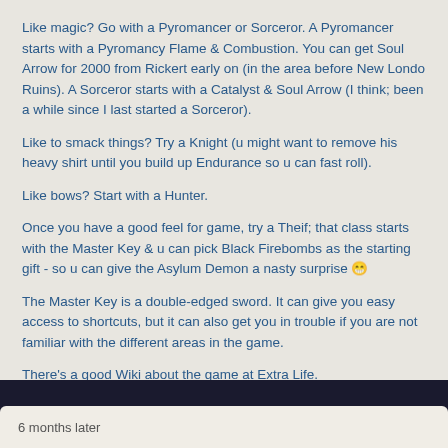Like magic? Go with a Pyromancer or Sorceror. A Pyromancer starts with a Pyromancy Flame & Combustion. You can get Soul Arrow for 2000 from Rickert early on (in the area before New Londo Ruins). A Sorceror starts with a Catalyst & Soul Arrow (I think; been a while since I last started a Sorceror).
Like to smack things? Try a Knight (u might want to remove his heavy shirt until you build up Endurance so u can fast roll).
Like bows? Start with a Hunter.
Once you have a good feel for game, try a Theif; that class starts with the Master Key & u can pick Black Firebombs as the starting gift - so u can give the Asylum Demon a nasty surprise 😁
The Master Key is a double-edged sword. It can give you easy access to shortcuts, but it can also get you in trouble if you are not familiar with the different areas in the game.
There's a good Wiki about the game at Extra Life.
6 months later